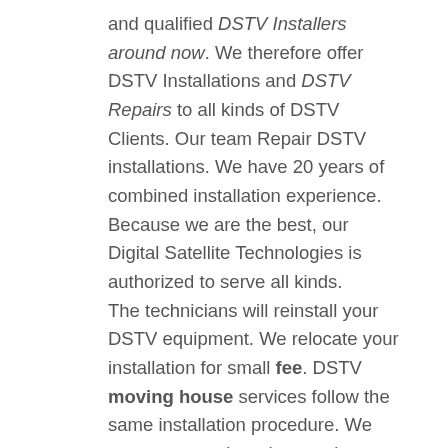and qualified DSTV Installers around now. We therefore offer DSTV Installations and DSTV Repairs to all kinds of DSTV Clients. Our team Repair DSTV installations. We have 20 years of combined installation experience. Because we are the best, our Digital Satellite Technologies is authorized to serve all kinds. The technicians will reinstall your DSTV equipment. We relocate your installation for small fee. DSTV moving house services follow the same installation procedure. We use our expertise when setting up new DSTV equipment. Thus you will need to meet the cost of installing a new complete satellite dish at the new premises. However, our guaranteed dstv maintenance services are offered in most parts of South Africa. Experience and expertise altogether make us the best. Above all, we install in all of Salt Lake. We provide both DSTV and TV point installations.